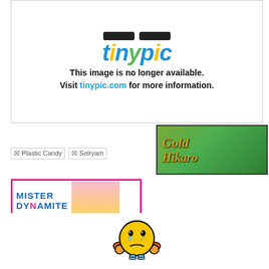[Figure (screenshot): Tinypic 'image no longer available' placeholder with logo and message: 'This image is no longer available. Visit tinypic.com for more information.']
[Figure (screenshot): Broken image placeholder labeled 'Plastic Candy']
[Figure (screenshot): Broken image placeholder labeled 'Selryam']
[Figure (photo): Gold Hikari banner with gold italic text on green background with person in green hoodie]
[Figure (screenshot): Mister Dynamite banner with blue bold text and woman with sunglasses on pink/yellow background]
[Figure (illustration): Sad/frustrated yellow emoji character with orange ear-hands and blue feet]